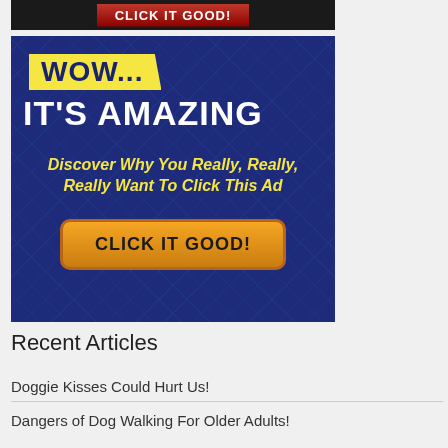[Figure (illustration): Top banner ad strip showing dark background with red arrow-shaped button labeled CLICK IT GOOD!]
[Figure (illustration): Advertisement banner with dark blue circuit-board background. Yellow banner reads WOW... followed by white bold text IT'S AMAZING. Yellow italic text: Discover Why You Really, Really, Really Want To Click This Ad. Orange rounded button: CLICK IT GOOD!]
Recent Articles
Doggie Kisses Could Hurt Us!
Dangers of Dog Walking For Older Adults!